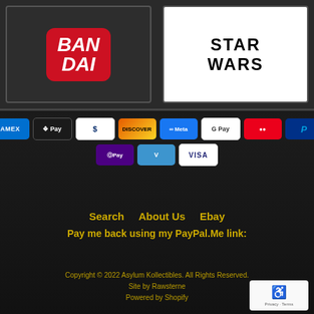[Figure (logo): Bandai red rounded rectangle logo with white bold italic text 'BAN DAI']
[Figure (logo): Star Wars black logo text on white background]
[Figure (infographic): Row of payment method icons: American Express, Apple Pay, Diners Club, Discover, Meta Pay, Google Pay, Mastercard, PayPal, then second row: Shop Pay, Venmo, Visa]
Search   About Us   Ebay
Pay me back using my PayPal.Me link:
Copyright © 2022 Asylum Kollectibles. All Rights Reserved.
Site by Rawsterne
Powered by Shopify